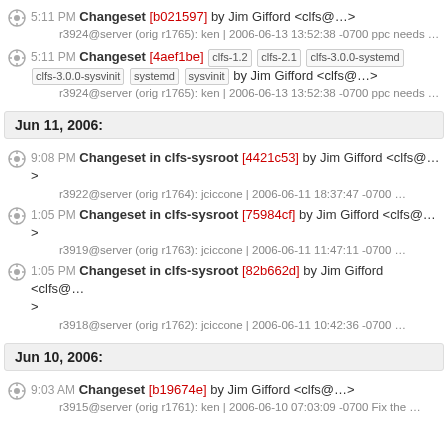5:11 PM Changeset [b021597] by Jim Gifford <clfs@…>
r3924@server (orig r1765): ken | 2006-06-13 13:52:38 -0700 ppc needs …
5:11 PM Changeset [4aef1be] clfs-1.2 clfs-2.1 clfs-3.0.0-systemd clfs-3.0.0-sysvinit systemd sysvinit by Jim Gifford <clfs@…>
r3924@server (orig r1765): ken | 2006-06-13 13:52:38 -0700 ppc needs …
Jun 11, 2006:
9:08 PM Changeset in clfs-sysroot [4421c53] by Jim Gifford <clfs@…>
r3922@server (orig r1764): jciccone | 2006-06-11 18:37:47 -0700 …
1:05 PM Changeset in clfs-sysroot [75984cf] by Jim Gifford <clfs@…>
r3919@server (orig r1763): jciccone | 2006-06-11 11:47:11 -0700 …
1:05 PM Changeset in clfs-sysroot [82b662d] by Jim Gifford <clfs@…>
r3918@server (orig r1762): jciccone | 2006-06-11 10:42:36 -0700 …
Jun 10, 2006:
9:03 AM Changeset [b19674e] by Jim Gifford <clfs@…>
r3915@server (orig r1761): ken | 2006-06-10 07:03:09 -0700 Fix the …